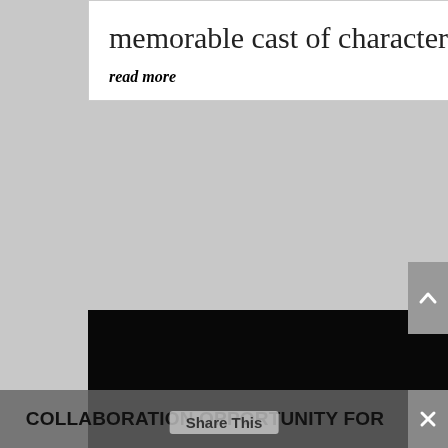memorable cast of characters, two pivotal crimes, lots of...
read more
[Figure (photo): A fork holding a nest of yellow pasta/spaghetti with a red cherry tomato on top and a green basil leaf, set against a dark black background.]
COLLABORATION OPPORTUNITY FOR